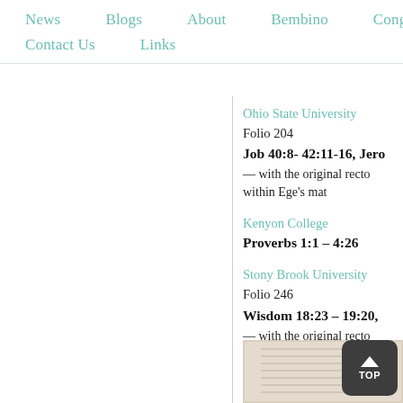News   Blogs   About   Bembino   Congress   Ev   Contact Us   Links
Ohio State University
Folio 204
Job 40:8- 42:11-16, Jero
— with the original recto within Ege's mat
Kenyon College
Proverbs 1:1 – 4:26
Stony Brook University
Folio 246
Wisdom 18:23 – 19:20,
— with the original recto within Ege's mat
[Figure (photo): Thumbnail image of a manuscript folio page]